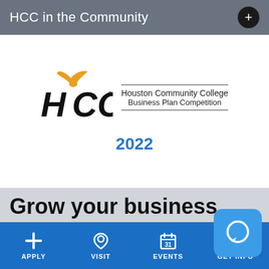HCC in the Community
[Figure (logo): HCC Houston Community College Business Plan Competition 2022 logo]
Grow your business
APPLY  VISIT  EVENTS  GET INFO